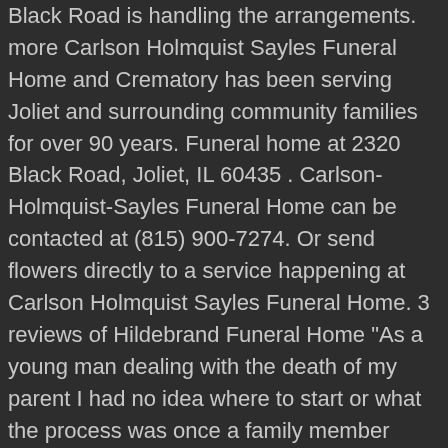Black Road is handling the arrangements. more Carlson Holmquist Sayles Funeral Home and Crematory has been serving Joliet and surrounding community families for over 90 years. Funeral home at 2320 Black Road, Joliet, IL 60435 . Carlson-Holmquist-Sayles Funeral Home can be contacted at (815) 900-7274. Or send flowers directly to a service happening at Carlson Holmquist Sayles Funeral Home. 3 reviews of Hildebrand Funeral Home "As a young man dealing with the death of my parent I had no idea where to start or what the process was once a family member passed away. Obituaries. Outside food is prohibited. The folks at Hildebrand-Russ were kind, patient, and very helpful. Juan Aguilar. Leave your condolences to the family on this memorial page or send flowers to show you care. We have made available our booklet "Grieving Alone & Together" to help guide you and provide answers. Find the obituary of Gloria M. Holmquist (1931 - 2021) from Joliet, IL. Our occupancy will be limited to 50 people at a time. Welcome to Farkas Funeral Home in Joliet, IL When you have experienced the loss of a loved one, you can trust Farkas Funeral Home to guide you through the process of honoring their life. Not Now . Leave your condolences to the family on this memorial page or send flowers to show you care. 3477 Medina Rd.,... Garrettsville, OH 44231. 670